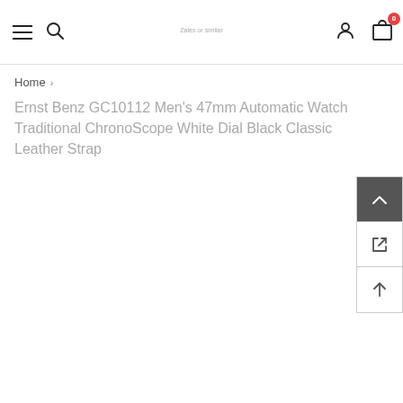Navigation header with hamburger menu, search icon, logo, user icon, and cart (0)
Home >
Ernst Benz GC10112 Men's 47mm Automatic Watch Traditional ChronoScope White Dial Black Classic Leather Strap
[Figure (other): Sidebar with three buttons: scroll-to-top (dark background with chevron up), share/external link icon, and up arrow icon]